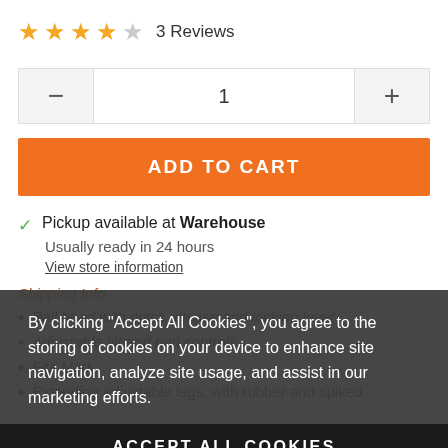★★★★☆ 3 Reviews
1 (quantity selector with - and + buttons)
ADD TO CART
✓ Pickup available at Warehouse
Usually ready in 24 hours
View store information
Shipping Info
Ball head with quick release and locking lever
Adjustable tilt and pan controls
Fits Mark...
Extending adjustable legs, with rubber and spiked
By clicking "Accept All Cookies", you agree to the storing of cookies on your device to enhance site navigation, analyze site usage, and assist in our marketing efforts.
ACCEPT ALL COOKIES